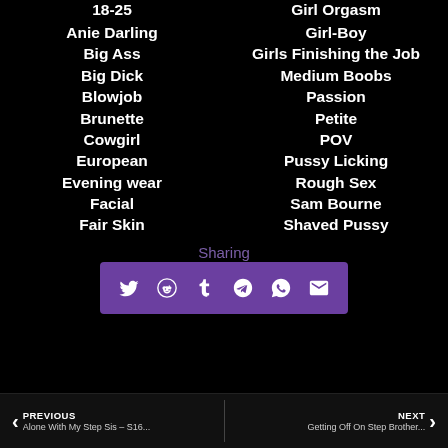Anie Darling
Big Ass
Big Dick
Blowjob
Brunette
Cowgirl
European
Evening wear
Facial
Fair Skin
Girl Orgasm
Girl-Boy
Girls Finishing the Job
Medium Boobs
Passion
Petite
POV
Pussy Licking
Rough Sex
Sam Bourne
Shaved Pussy
Sharing
PREVIOUS — Alone With My Step Sis – S16... | NEXT — Getting Off On Step Brother...